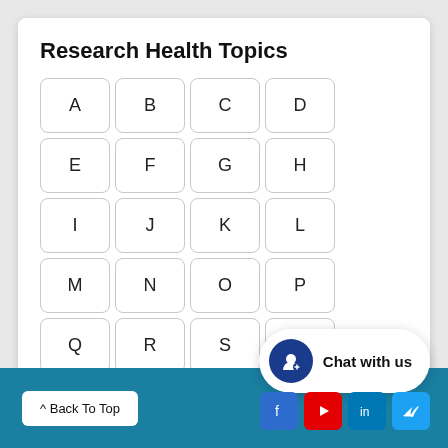Research Health Topics
[Figure (other): Alphabet navigation buttons A through Z plus 0-9 arranged in rows]
Search Content:
[Figure (other): Search bar with placeholder 'What are you looking for?' and a yellow search button]
Chat with us
^ Back To Top